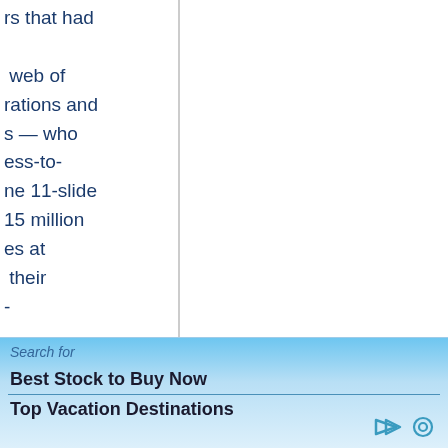rs that had

web of
rations and
s — who
ess-to-
ne 11-slide
15 million
es at
their
-

and
Series B
tal,
r, when the
age, and
detailing the
rg,
nvestors
Search for
Best Stock to Buy Now
Top Vacation Destinations